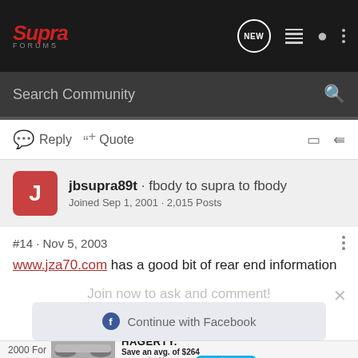Supra Forums - NEW
Search Community
Reply  Quote
jbsupra89t · fbody to supra to fbody
Joined Sep 1, 2001 · 2,015 Posts
#14 · Nov 5, 2003
www.jza70.com has a good bit of rear end information
Join now to ask and comment!
Continue with Facebook
2000 For...
[Figure (photo): Hagerty advertisement showing a classic car with text: Save an avg. of $264 vs. standard insurance. Quote insurance button.]